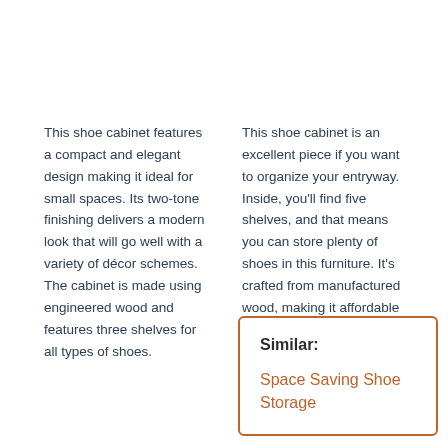This shoe cabinet features a compact and elegant design making it ideal for small spaces. Its two-tone finishing delivers a modern look that will go well with a variety of décor schemes. The cabinet is made using engineered wood and features three shelves for all types of shoes.
This shoe cabinet is an excellent piece if you want to organize your entryway. Inside, you'll find five shelves, and that means you can store plenty of shoes in this furniture. It's crafted from manufactured wood, making it affordable and durable enough for its primary purpose.
Similar:
Space Saving Shoe Storage